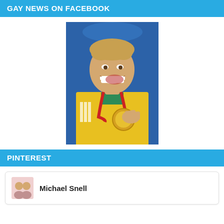GAY NEWS ON FACEBOOK
[Figure (photo): Young male athlete in yellow Australian Adidas jersey biting a gold medal on a red ribbon, smiling, with blue background]
PINTEREST
Michael Snell